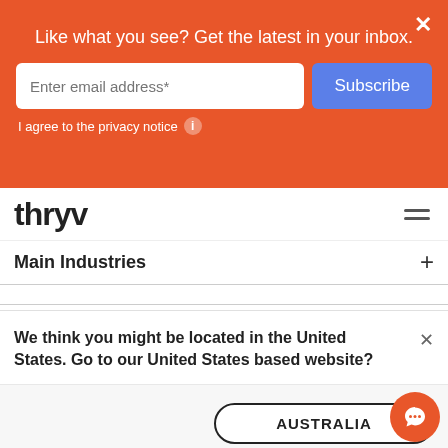Like what you see? Get the latest in your inbox.
Enter email address*
Subscribe
I agree to the privacy notice
thryv
Main Industries
We think you might be located in the United States. Go to our United States based website?
AUSTRALIA
UNITED STATE...